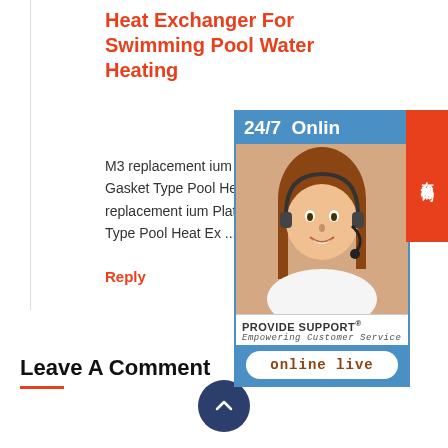Heat Exchanger For Swimming Pool Water Heating
M3 replacement ium Plate Gasket Type Pool Heat replacement ium Plate Type Pool Heat Ex ...
Reply
[Figure (photo): Online chat support widget showing a customer service representative with headset, 24/7 Online text in blue bar, Chinese characters in red sidebar, PROVIDE SUPPORT branding, and 'online live' button]
Leave A Comment